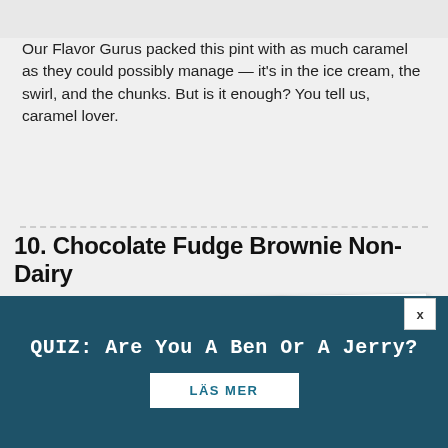[Figure (photo): Partial image at top of page, cropped]
Our Flavor Gurus packed this pint with as much caramel as they could possibly manage — it's in the ice cream, the swirl, and the chunks. But is it enough? You tell us, caramel lover.
10. Chocolate Fudge Brownie Non-Dairy
[Figure (photo): Some one holding a pint of Non-Dairy Chocolate Fudge Brownie]
[Figure (logo): Cookie/privacy icon in dark circle]
All the chocolatey, fudgey, brownie-ey goodness you love,
QUIZ: Are You A Ben Or A Jerry?
LÄS MER